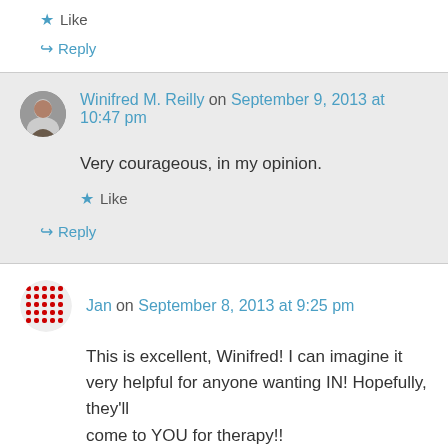★ Like
↪ Reply
Winifred M. Reilly on September 9, 2013 at 10:47 pm
Very courageous, in my opinion.
★ Like
↪ Reply
Jan on September 8, 2013 at 9:25 pm
This is excellent, Winifred! I can imagine it very helpful for anyone wanting IN! Hopefully, they'll come to YOU for therapy!!